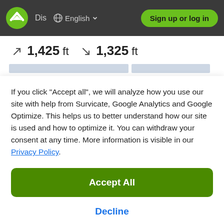Dis  English  Sign up or log in
↗ 1,425 ft  ↘ 1,325 ft
If you click "Accept all", we will analyze how you use our site with help from Survicate, Google Analytics and Google Optimize. This helps us to better understand how our site is used and how to optimize it. You can withdraw your consent at any time. More information is visible in our Privacy Policy.
Accept All
Decline
Details